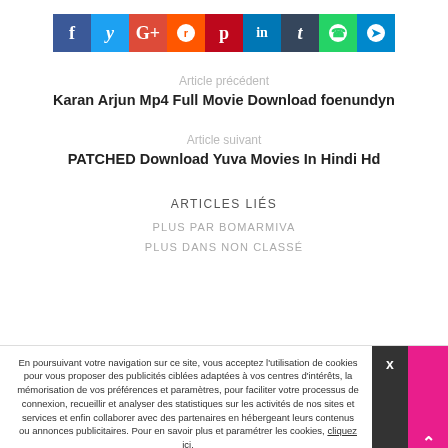[Figure (infographic): Social media share buttons bar: Facebook (blue), Twitter (light blue), Google+ (red), Reddit (orange-red), Pinterest (dark red), LinkedIn (blue), Tumblr (dark blue), WhatsApp (green), Telegram (blue)]
Article précédent
Karan Arjun Mp4 Full Movie Download foenundyn
Article suivant
PATCHED Download Yuva Movies In Hindi Hd
ARTICLES LIÉS
PLUS PAR BOMARMIVA
PLUS DANS NON CLASSÉ
En poursuivant votre navigation sur ce site, vous acceptez l'utilisation de cookies pour vous proposer des publicités ciblées adaptées à vos centres d'intérêts, la mémorisation de vos préférences et paramètres, pour faciliter votre processus de connexion, recueillir et analyser des statistiques sur les activités de nos sites et services et enfin collaborer avec des partenaires en hébergeant leurs contenus ou annonces publicitaires. Pour en savoir plus et paramétrer les cookies, cliquez ici.